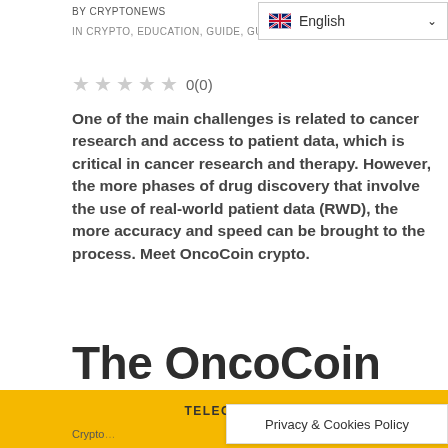BY CRYPTONEWS
IN CRYPTO, EDUCATION, GUIDE, GUIDELINES   0
0(0)
One of the main challenges is related to cancer research and access to patient data, which is critical in cancer research and therapy. However, the more phases of drug discovery that involve the use of real-world patient data (RWD), the more accuracy and speed can be brought to the process. Meet OncoCoin crypto.
The OncoCoin
TELEGRAM
Privacy & Cookies Policy